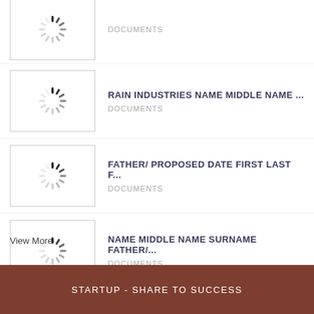DOCUMENTS
RAIN INDUSTRIES NAME MIDDLE NAME ...
DOCUMENTS
FATHER/ PROPOSED DATE FIRST LAST F...
DOCUMENTS
NAME MIDDLE NAME SURNAME FATHER/...
DOCUMENTS
View More
STARTUP - SHARE TO SUCCESS